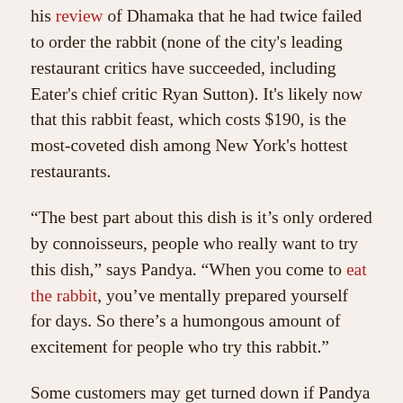his review of Dhamaka that he had twice failed to order the rabbit (none of the city's leading restaurant critics have succeeded, including Eater's chief critic Ryan Sutton). It's likely now that this rabbit feast, which costs $190, is the most-coveted dish among New York's hottest restaurants.
“The best part about this dish is it’s only ordered by connoisseurs, people who really want to try this dish,” says Pandya. “When you come to eat the rabbit, you’ve mentally prepared yourself for days. So there’s a humongous amount of excitement for people who try this rabbit.”
Some customers may get turned down if Pandya feels they are just ordering the dish to show off. For instance, an acquaintance of Pandya, a vegetarian, requested the rabbit dish for his girlfriend. “I said, ‘You know what? I don’t want to sell it to you.’ I didn’t find the intent of this person to try